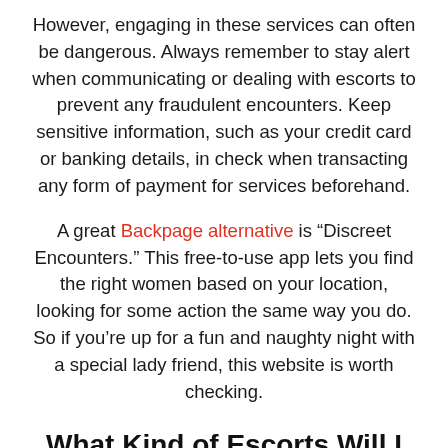However, engaging in these services can often be dangerous. Always remember to stay alert when communicating or dealing with escorts to prevent any fraudulent encounters. Keep sensitive information, such as your credit card or banking details, in check when transacting any form of payment for services beforehand.
A great Backpage alternative is “Discreet Encounters.” This free-to-use app lets you find the right women based on your location, looking for some action the same way you do. So if you’re up for a fun and naughty night with a special lady friend, this website is worth checking.
What Kind of Escorts Will I Find Online?